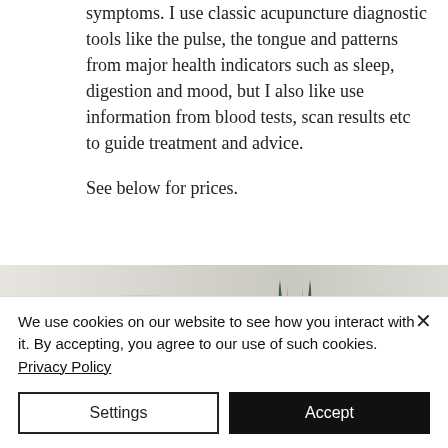symptoms. I use classic acupuncture diagnostic tools like the pulse, the tongue and patterns from major health indicators such as sleep, digestion and mood, but I also like use information from blood tests, scan results etc to guide treatment and advice.
See below for prices.
[Figure (photo): A decorative plant with green spiky leaves, partially visible at the bottom portion of the page, with a blurred light background.]
We use cookies on our website to see how you interact with it. By accepting, you agree to our use of such cookies. Privacy Policy